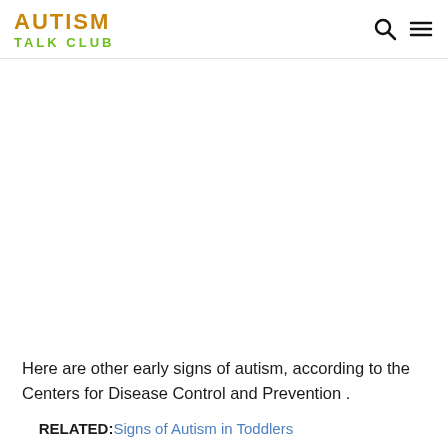AUTISM TALK CLUB
[Figure (other): Blank white content area (image/advertisement placeholder)]
Here are other early signs of autism, according to the Centers for Disease Control and Prevention.
RELATED: Signs of Autism in Toddlers